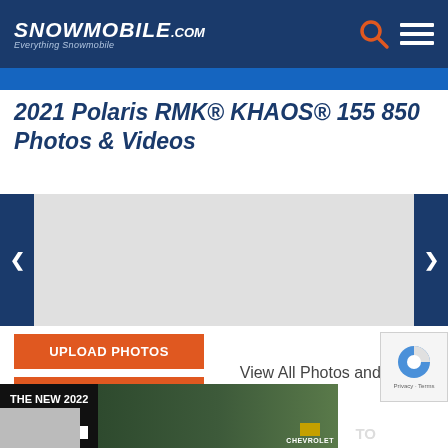Snowmobile.com — Everything Snowmobile
2021 Polaris RMK® KHAOS® 155 850 Photos & Videos
[Figure (photo): Photo/video slideshow carousel with left and right navigation arrows and a gray placeholder content area]
UPLOAD PHOTOS
UPLOAD VIDEOS
View All Photos and Videos
User Reviews
[Figure (screenshot): Advertisement banner for The New 2022 Silverado by Chevrolet with Explore button and truck photo on dark background]
[Figure (other): reCAPTCHA widget showing spinning logo and Privacy - Terms text]